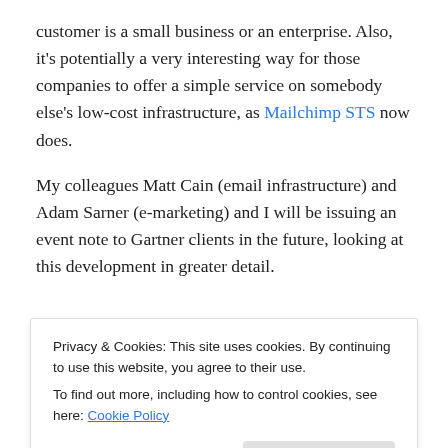customer is a small business or an enterprise. Also, it's potentially a very interesting way for those companies to offer a simple service on somebody else's low-cost infrastructure, as Mailchimp STS now does.
My colleagues Matt Cain (email infrastructure) and Adam Sarner (e-marketing) and I will be issuing an event note to Gartner clients in the future, looking at this development in greater detail.
[Figure (other): Advertisements label with a purple and gray horizontal bar (partial advertisement banner)]
Privacy & Cookies: This site uses cookies. By continuing to use this website, you agree to their use.
To find out more, including how to control cookies, see here: Cookie Policy
Close and accept
subscriptions online